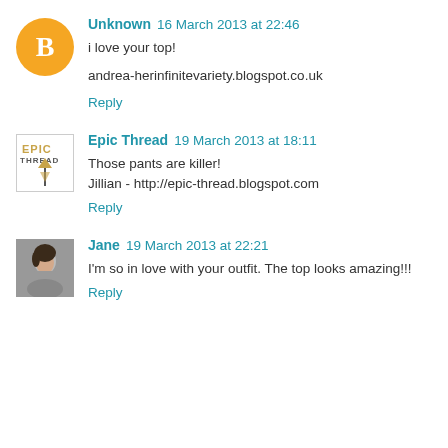Unknown  16 March 2013 at 22:46
i love your top!
andrea-herinfinitevariety.blogspot.co.uk
Reply
Epic Thread  19 March 2013 at 18:11
Those pants are killer!
Jillian - http://epic-thread.blogspot.com
Reply
Jane  19 March 2013 at 22:21
I'm so in love with your outfit. The top looks amazing!!!
Reply